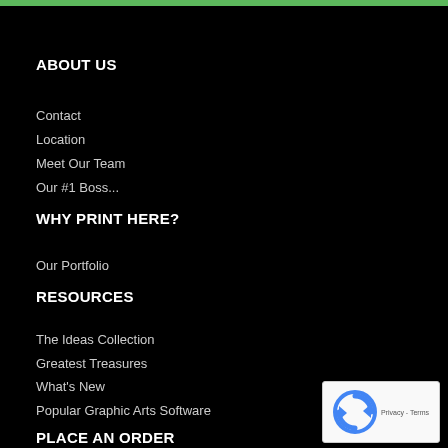ABOUT US
Contact
Location
Meet Our Team
Our #1 Boss...
WHY PRINT HERE?
Our Portfolio
RESOURCES
The Ideas Collection
Greatest Treasures
What's New
Popular Graphic Arts Software
PLACE AN ORDER
My Account
Get An Estimate
[Figure (logo): reCAPTCHA badge with Privacy and Terms links]